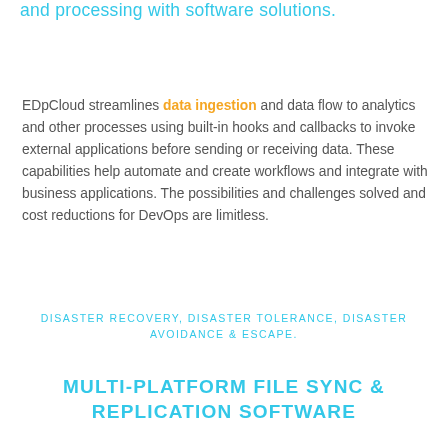and processing with software solutions.
EDpCloud streamlines data ingestion and data flow to analytics and other processes using built-in hooks and callbacks to invoke external applications before sending or receiving data. These capabilities help automate and create workflows and integrate with business applications. The possibilities and challenges solved and cost reductions for DevOps are limitless.
DISASTER RECOVERY, DISASTER TOLERANCE, DISASTER AVOIDANCE & ESCAPE.
MULTI-PLATFORM FILE SYNC & REPLICATION SOFTWARE